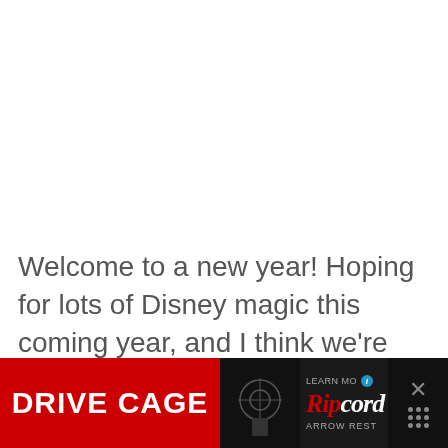Welcome to a new year! Hoping for lots of Disney magic this coming year, and I think we're starting off strong with the latest Disney news and events. Many things to look forward to in 2022! Disney news Two Disney World restaurants have reopened recently: Boatwright's at Port Orleans Riverside, a... Storybook Dining at Artist [...]
[Figure (screenshot): Advertisement banner at bottom: Drive Cage product ad with Ripcord Arrow Rest branding on dark background with red accent. Close button and menu dots on right side.]